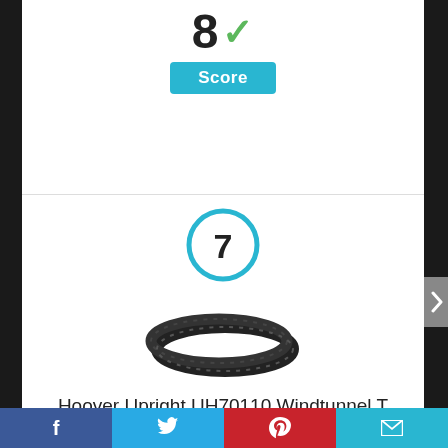8 ✓
Score
[Figure (infographic): Rank number 7 inside a cyan/blue circle]
[Figure (photo): Two black vacuum belt rings stacked together]
Hoover Upright UH70110 Windtunnel T